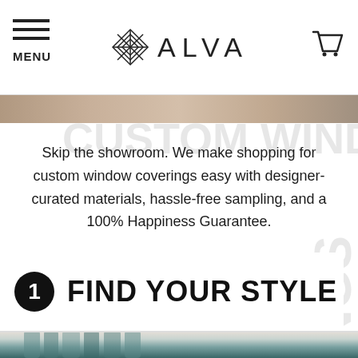MENU | ALVA | (cart)
[Figure (photo): Narrow hero strip showing a partial lifestyle/interior photo]
Skip the showroom. We make shopping for custom window coverings easy with designer-curated materials, hassle-free sampling, and a 100% Happiness Guarantee.
1 FIND YOUR STYLE
[Figure (photo): Bottom portion showing teal/blue fabric curtains hanging on a rod, close-up detail shot]